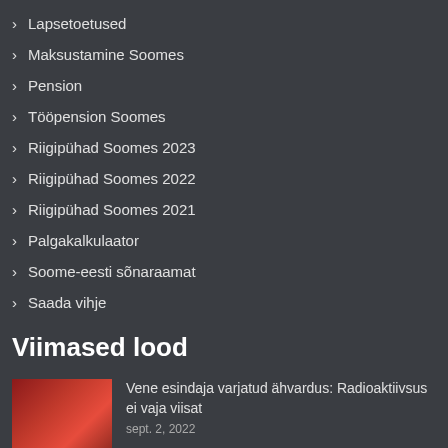Lapsetoetused
Maksustamine Soomes
Pension
Tööpension Soomes
Riigipühad Soomes 2023
Riigipühad Soomes 2022
Riigipühad Soomes 2021
Palgakalkulaator
Soome-eesti sõnaraamat
Saada vihje
Viimased lood
Vene esindaja varjatud ähvardus: Radioaktiivsus ei vaja viisat
sept. 2, 2022